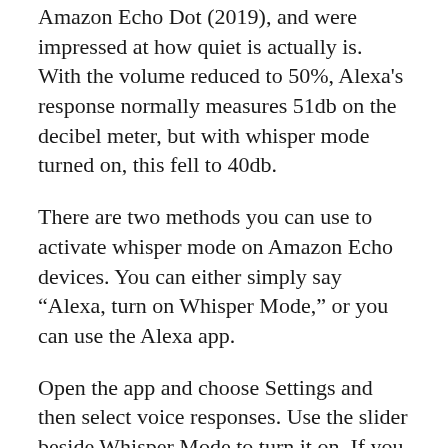Amazon Echo Dot (2019), and were impressed at how quiet is actually is. With the volume reduced to 50%, Alexa’s response normally measures 51db on the decibel meter, but with whisper mode turned on, this fell to 40db.
There are two methods you can use to activate whisper mode on Amazon Echo devices. You can either simply say “Alexa, turn on Whisper Mode,” or you can use the Alexa app.
Open the app and choose Settings and then select voice responses. Use the slider beside Whisper Mode to turn it on. If you want to switch off Whisper Mode, simply ask Alexa or use the slide in the Alexa app.
If you are planning on activating whisper mode,